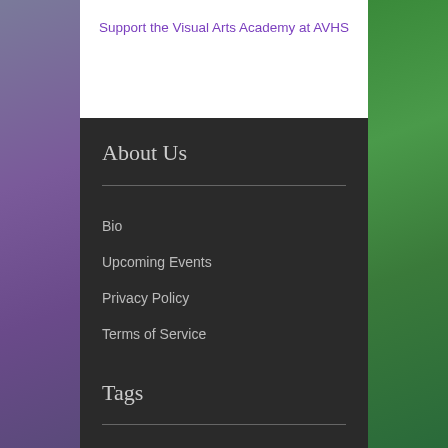Support the Visual Arts Academy at AVHS
About Us
Bio
Upcoming Events
Privacy Policy
Terms of Service
Tags